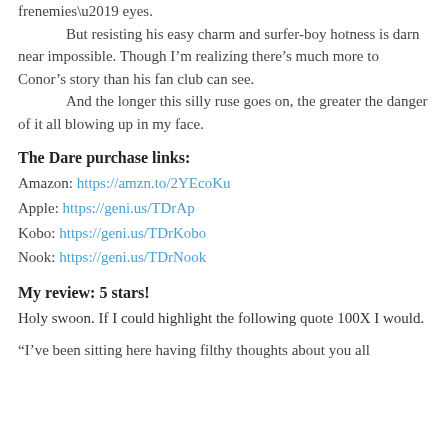frenemies’ eyes.
        But resisting his easy charm and surfer-boy hotness is darn near impossible. Though I’m realizing there’s much more to Conor’s story than his fan club can see.
        And the longer this silly ruse goes on, the greater the danger of it all blowing up in my face.
The Dare purchase links:
Amazon: https://amzn.to/2YEcoKu
Apple: https://geni.us/TDrAp
Kobo: https://geni.us/TDrKobo
Nook: https://geni.us/TDrNook
My review: 5 stars!
Holy swoon. If I could highlight the following quote 100X I would.
"I've been sitting here having filthy thoughts about you all